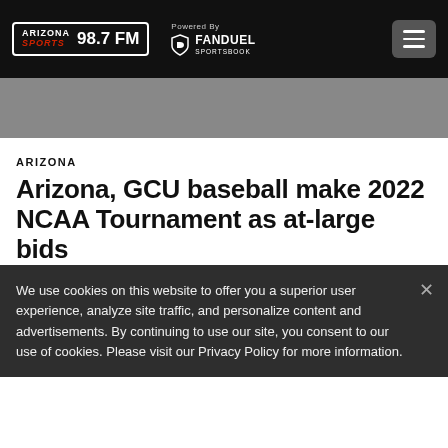ARIZONA SPORTS 98.7 FM — Powered By FANDUEL SPORTSBOOK
ARIZONA
Arizona, GCU baseball make 2022 NCAA Tournament as at-large bids
We use cookies on this website to offer you a superior user experience, analyze site traffic, and personalize content and advertisements. By continuing to use our site, you consent to our use of cookies. Please visit our Privacy Policy for more information.